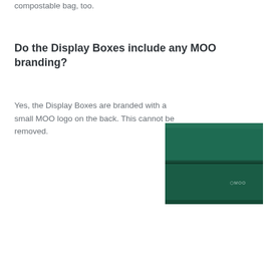compostable bag, too.
Do the Display Boxes include any MOO branding?
Yes, the Display Boxes are branded with a small MOO logo on the back. This cannot be removed.
[Figure (photo): Dark green MOO branded display boxes stacked, showing MOO logo on the front face of the lower box]